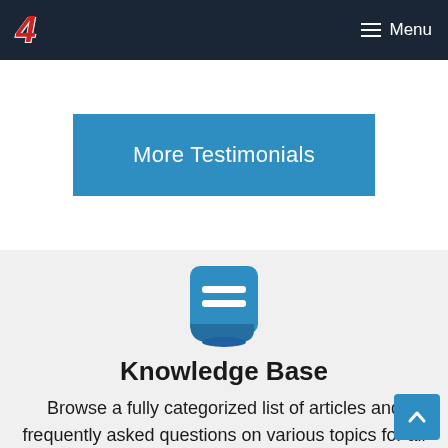4  Menu
More Testimonials
[Figure (illustration): Blue book icon with two horizontal white lines representing text]
Knowledge Base
Browse a fully categorized list of articles and frequently asked questions on various topics for all Dev4Press plugins